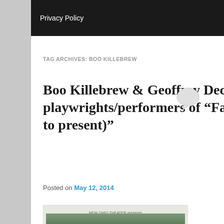Privacy Policy
TAG ARCHIVES: BOO KILLEBREW
Boo Killebrew & Geoffrey Decas O’Donnell, playwrights/performers of “Family Play (1979 to present)”
Posted on May 12, 2014
[Figure (photo): NEW OHIO THEATER presents poster for FAMILY PLAY showing a building exterior with brick and metal railings]